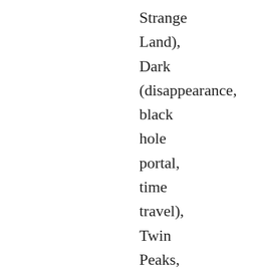Strange Land), Dark (disappearance, black hole portal, time travel), Twin Peaks, Interstellar,.. 2016 was the